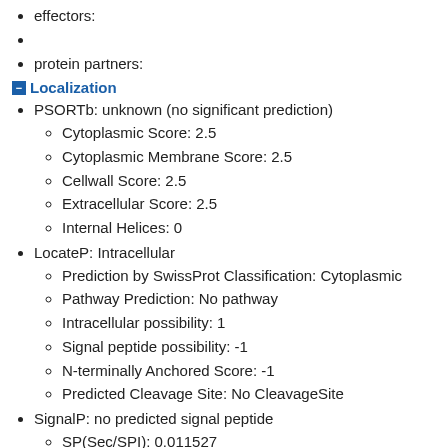effectors:
protein partners:
Localization
PSORTb: unknown (no significant prediction)
Cytoplasmic Score: 2.5
Cytoplasmic Membrane Score: 2.5
Cellwall Score: 2.5
Extracellular Score: 2.5
Internal Helices: 0
LocateP: Intracellular
Prediction by SwissProt Classification: Cytoplasmic
Pathway Prediction: No pathway
Intracellular possibility: 1
Signal peptide possibility: -1
N-terminally Anchored Score: -1
Predicted Cleavage Site: No CleavageSite
SignalP: no predicted signal peptide
SP(Sec/SPI): 0.011527
TAT(Tat/SPI): 0.001116
LIPO(Sec/SPII): 0.001213